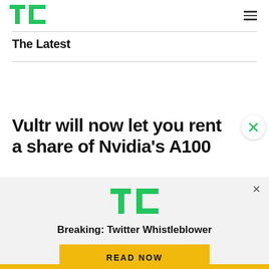[Figure (logo): TechCrunch TC green logo in header]
The Latest
Vultr will now let you rent a share of Nvidia's A100
[Figure (logo): TechCrunch TC green logo in notification popup]
Breaking: Twitter Whistleblower
READ NOW